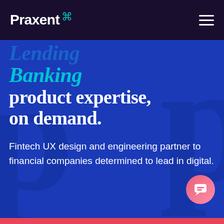Praxent
Lending Banking product expertise, on demand.
Fintech UX design and engineering partner to financial companies determined to lead in digital.
[Figure (screenshot): Pink circular chat button in bottom-right corner]